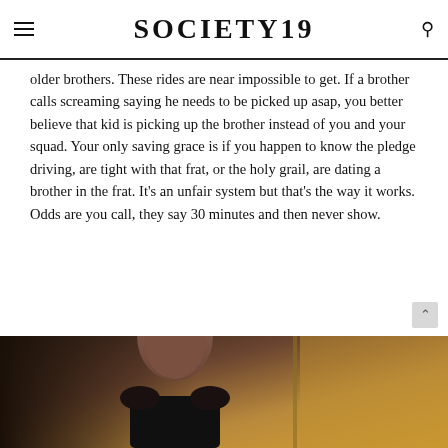SOCIETY19
older brothers. These rides are near impossible to get. If a brother calls screaming saying he needs to be picked up asap, you better believe that kid is picking up the brother instead of you and your squad. Your only saving grace is if you happen to know the pledge driving, are tight with that frat, or the holy grail, are dating a brother in the frat. It's an unfair system but that's the way it works. Odds are you call, they say 30 minutes and then never show.
[Figure (photo): A person with dark hair styled up, photographed indoors with warm golden/wooden background tones.]